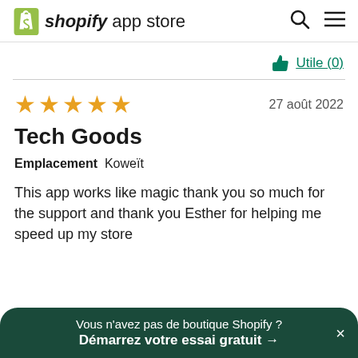shopify app store
Utile (0)
27 août 2022
Tech Goods
Emplacement  Koweït
This app works like magic thank you so much for the support and thank you Esther for helping me speed up my store
Vous n'avez pas de boutique Shopify ? Démarrez votre essai gratuit →